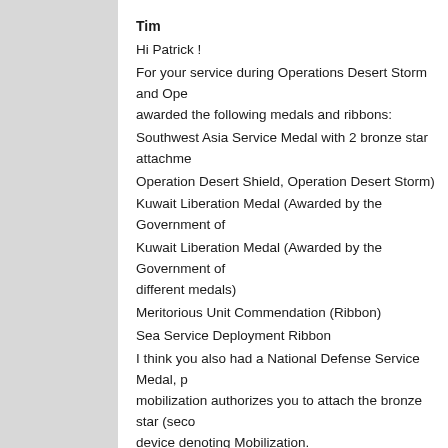Tim
Hi Patrick !
For your service during Operations Desert Storm and Ope... awarded the following medals and ribbons:
Southwest Asia Service Medal with 2 bronze star attachme...
Operation Desert Shield, Operation Desert Storm)
Kuwait Liberation Medal (Awarded by the Government of...
Kuwait Liberation Medal (Awarded by the Government of... different medals)
Meritorious Unit Commendation (Ribbon)
Sea Service Deployment Ribbon
I think you also had a National Defense Service Medal, p... mobilization authorizes you to attach the bronze star (seco... device denoting Mobilization.
Take a look here for images and the precedence order for ... your shadow box:
http://www.public.navy.mil/bupers-npc/support/uniforms/uniformregulations/Pages/NavyAwa...